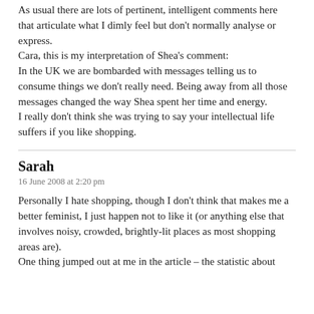As usual there are lots of pertinent, intelligent comments here that articulate what I dimly feel but don't normally analyse or express.
Cara, this is my interpretation of Shea's comment:
In the UK we are bombarded with messages telling us to consume things we don't really need. Being away from all those messages changed the way Shea spent her time and energy.
I really don't think she was trying to say your intellectual life suffers if you like shopping.
Sarah
16 June 2008 at 2:20 pm
Personally I hate shopping, though I don't think that makes me a better feminist, I just happen not to like it (or anything else that involves noisy, crowded, brightly-lit places as most shopping areas are).
One thing jumped out at me in the article – the statistic about